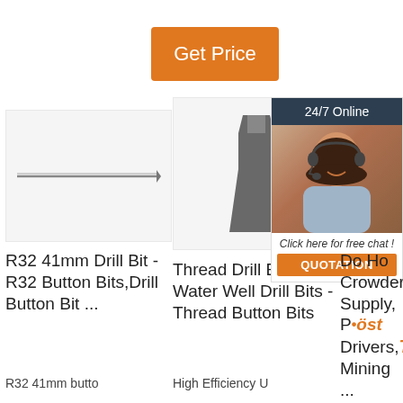[Figure (other): Orange 'Get Price' button]
[Figure (photo): R32 41mm drill bit - long slender rod on white background]
R32 41mm Drill Bit - R32 Button Bits,Drill Button Bit ...
R32 41mm butto
[Figure (photo): Thread drill bit - chisel-style tip on white background]
Thread Drill Bits - Water Well Drill Bits - Thread Button Bits
High Efficiency U
[Figure (infographic): 24/7 Online chat widget with woman wearing headset. Includes 'Click here for free chat!' text and QUOTATION button.]
Do Ho Crowder Supply, Post Drivers, Mining ...